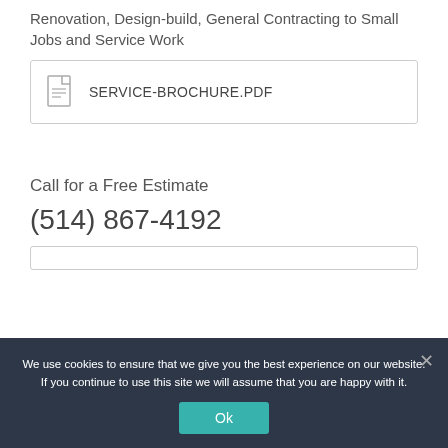Renovation, Design-build, General Contracting to Small Jobs and Service Work
[Figure (other): PDF file attachment box showing a document icon and the filename SERVICE-BROCHURE.PDF]
Call for a Free Estimate
(514) 867-4192
We use cookies to ensure that we give you the best experience on our website. If you continue to use this site we will assume that you are happy with it.